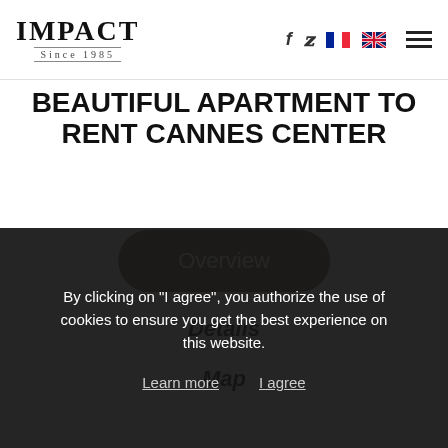IMPACT Since 1985
BEAUTIFUL APARTMENT TO RENT CANNES CENTER
Overview
Details
Map
By clicking on "I agree", you authorize the use of cookies to ensure you get the best experience on this website.
Learn more    I agree